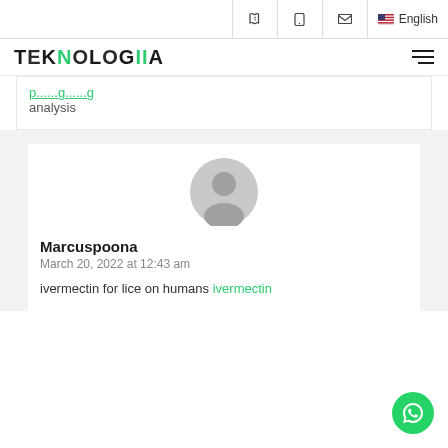TEKNOLOGIIA — phone, tablet, mail, English navigation bar
[Figure (logo): TEKNOLOGIIA logo with green double-I letters, hamburger menu icon on right]
p...g...g analysis
Marcuspoona
March 20, 2022 at 12:43 am
ivermectin for lice on humans ivermectin